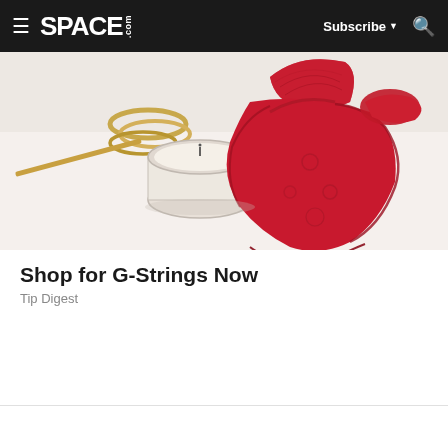SPACE.com  Subscribe  🔍
[Figure (photo): Overhead flat-lay photo of red lace lingerie (bra and thong/g-string), gold bangles, and a glass jar candle on a white surface]
Shop for G-Strings Now
Tip Digest